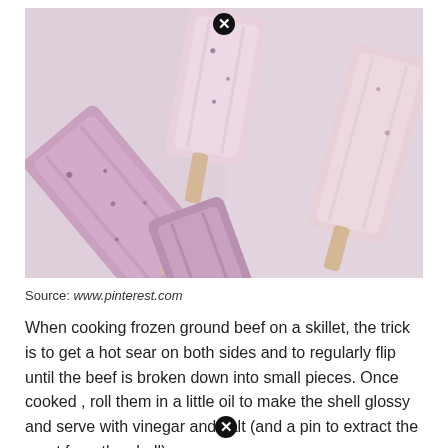[Figure (photo): Several pink and purple popsicles/ice cream bars on sticks arranged on a light surface, showing blueberry or berry-flavored frozen treats with wooden sticks]
Source: www.pinterest.com
When cooking frozen ground beef on a skillet, the trick is to get a hot sear on both sides and to regularly flip until the beef is broken down into small pieces. Once cooked , roll them in a little oil to make the shell glossy and serve with vinegar and salt (and a pin to extract the meat from the shell).